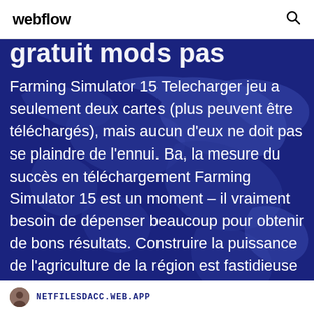webflow
gratuit mods pas
Farming Simulator 15 Telecharger jeu a seulement deux cartes (plus peuvent être téléchargés), mais aucun d'eux ne doit pas se plaindre de l'ennui. Ba, la mesure du succès en téléchargement Farming Simulator 15 est un moment – il vraiment besoin de dépenser beaucoup pour obtenir de bons résultats. Construire la puissance de l'agriculture de la région est fastidieuse et prend
NETFILESDACC.WEB.APP